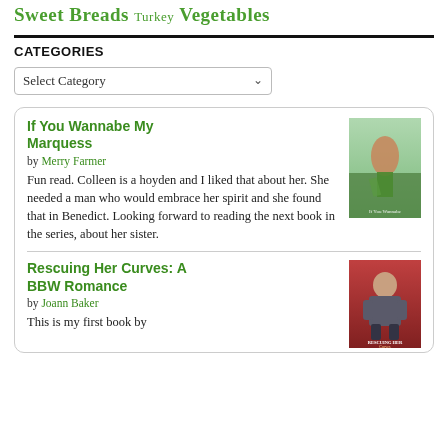Sweet Breads Turkey Vegetables
CATEGORIES
Select Category
If You Wannabe My Marquess
by Merry Farmer
Fun read. Colleen is a hoyden and I liked that about her. She needed a man who would embrace her spirit and she found that in Benedict. Looking forward to reading the next book in the series, about her sister.
[Figure (photo): Book cover for 'If You Wannabe My Marquess' showing a woman in a green dress in a field]
Rescuing Her Curves: A BBW Romance
by Joann Baker
This is my first book by
[Figure (photo): Book cover for 'Rescuing Her Curves: A BBW Romance' showing a muscular man with arms crossed]